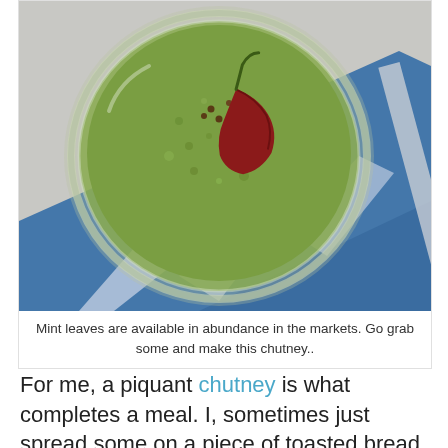[Figure (photo): Overhead view of a glass mason jar filled with green mint chutney topped with a dried red chili pepper and mustard seeds, placed on a blue and white patterned cloth/napkin on a light surface.]
Mint leaves are available in abundance in the markets. Go grab some and make this chutney..
For me, a piquant chutney is what completes a meal. I, sometimes just spread some on a piece of toasted bread